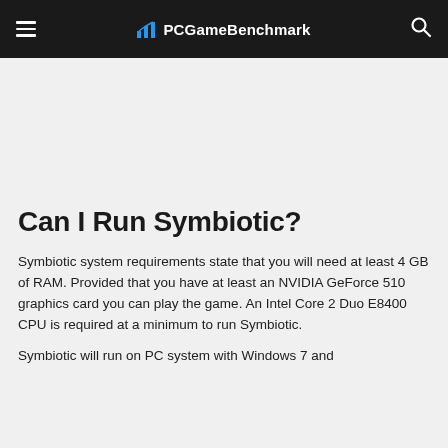PCGameBenchmark
Can I Run Symbiotic?
Symbiotic system requirements state that you will need at least 4 GB of RAM. Provided that you have at least an NVIDIA GeForce 510 graphics card you can play the game. An Intel Core 2 Duo E8400 CPU is required at a minimum to run Symbiotic.
Symbiotic will run on PC system with Windows 7 and